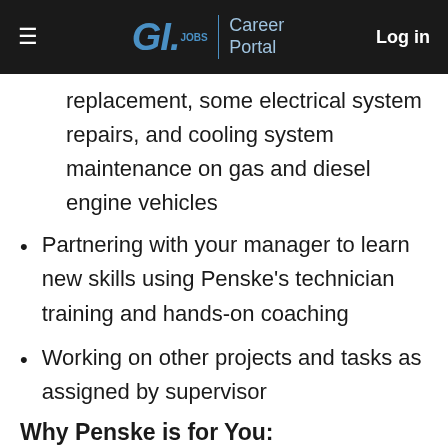G.I. Jobs | Career Portal   Log in
replacement, some electrical system repairs, and cooling system maintenance on gas and diesel engine vehicles
Partnering with your manager to learn new skills using Penske's technician training and hands-on coaching
Working on other projects and tasks as assigned by supervisor
Why Penske is for You: